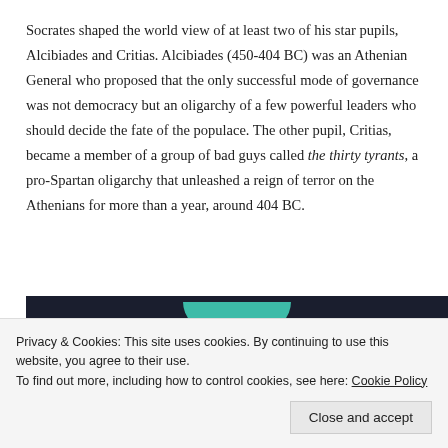Socrates shaped the world view of at least two of his star pupils, Alcibiades and Critias. Alcibiades (450-404 BC) was an Athenian General who proposed that the only successful mode of governance was not democracy but an oligarchy of a few powerful leaders who should decide the fate of the populace. The other pupil, Critias, became a member of a group of bad guys called the thirty tyrants, a pro-Spartan oligarchy that unleashed a reign of terror on the Athenians for more than a year, around 404 BC.
[Figure (photo): Dark background image with a teal/green arc shape at the top center, partially visible]
Privacy & Cookies: This site uses cookies. By continuing to use this website, you agree to their use.
To find out more, including how to control cookies, see here: Cookie Policy